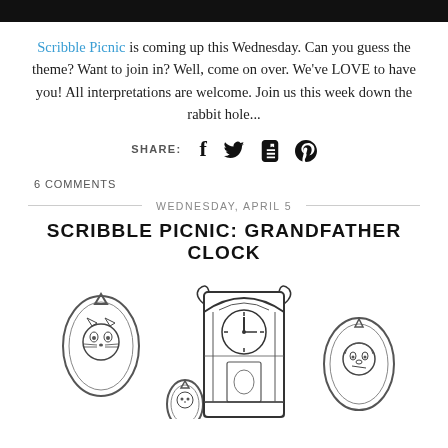[Figure (photo): Black banner/header image at top of page]
Scribble Picnic is coming up this Wednesday. Can you guess the theme? Want to join in? Well, come on over. We've LOVE to have you! All interpretations are welcome. Join us this week down the rabbit hole...
SHARE: [Facebook] [Twitter] [Tumblr] [Pinterest]
6 COMMENTS
WEDNESDAY, APRIL 5
SCRIBBLE PICNIC: GRANDFATHER CLOCK
[Figure (illustration): Pen and ink illustration showing a grandfather clock in the center with framed oval portraits of animals (cat on the left, another figure on the right) and decorative elements]